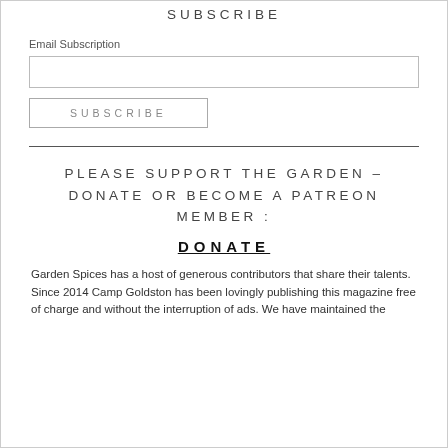SUBSCRIBE
Email Subscription
PLEASE SUPPORT THE GARDEN – DONATE OR BECOME A PATREON MEMBER :
DONATE
Garden Spices has a host of generous contributors that share their talents. Since 2014 Camp Goldston has been lovingly publishing this magazine free of charge and without the interruption of ads. We have maintained the